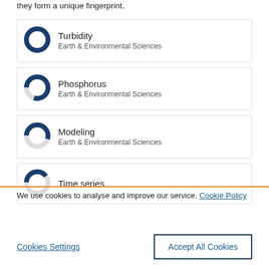they form a unique fingerprint.
Turbidity
Earth & Environmental Sciences
Phosphorus
Earth & Environmental Sciences
Modeling
Earth & Environmental Sciences
Time series
We use cookies to analyse and improve our service. Cookie Policy
Cookies Settings
Accept All Cookies